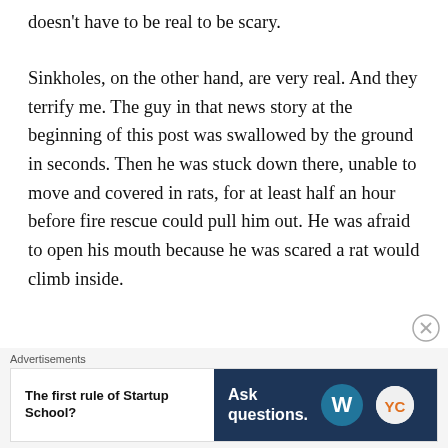doesn't have to be real to be scary.
Sinkholes, on the other hand, are very real. And they terrify me. The guy in that news story at the beginning of this post was swallowed by the ground in seconds. Then he was stuck down there, unable to move and covered in rats, for at least half an hour before fire rescue could pull him out. He was afraid to open his mouth because he was scared a rat would climb inside.
This is terrifying, and it happens a lot. Do a web search for “man swallowed by sinkhole” and check
[Figure (other): Advertisement banner: 'The first rule of Startup School?' on left white panel; 'Ask questions.' with WordPress and YC logos on dark navy right panel]